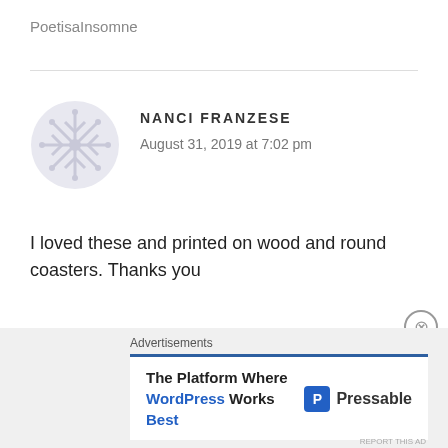PoetisaInsomne
NANCI FRANZESE
August 31, 2019 at 7:02 pm
I loved these and printed on wood and round coasters. Thanks you
★ Like
Reply
Advertisements
The Platform Where WordPress Works Best   Pressable